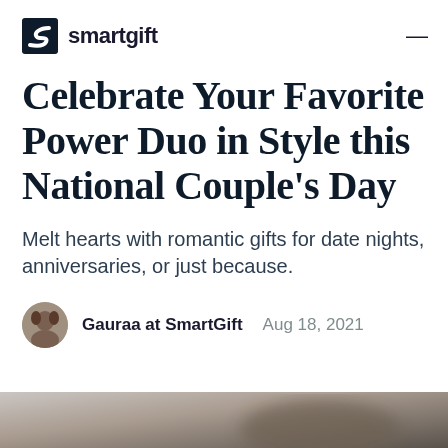smartgift
Celebrate Your Favorite Power Duo in Style this National Couple's Day
Melt hearts with romantic gifts for date nights, anniversaries, or just because.
Gauraa at SmartGift   Aug 18, 2021
[Figure (photo): Blurred/out-of-focus image at the bottom of the page, appears dark brownish tones]